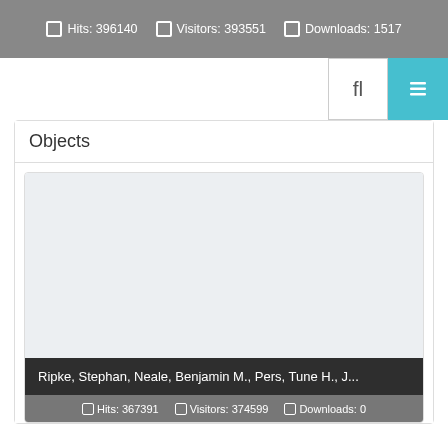Hits: 396140  Visitors: 393551  Downloads: 1517
[Figure (screenshot): Toolbar with filter and navigation buttons on the right]
Objects
[Figure (screenshot): Card with blank gray image placeholder and title bar showing author names: Ripke, Stephan, Neale, Benjamin M., Pers, Tune H., J...]
Hits: 367391  Visitors: 374599  Downloads: 0